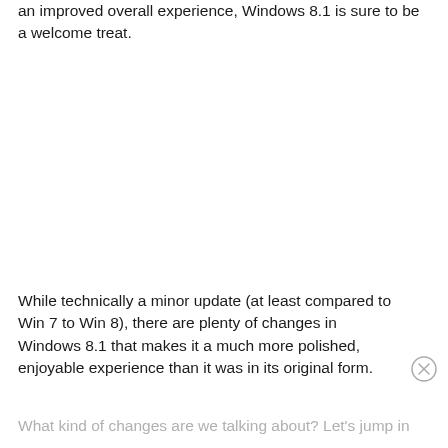an improved overall experience, Windows 8.1 is sure to be a welcome treat.
While technically a minor update (at least compared to Win 7 to Win 8), there are plenty of changes in Windows 8.1 that makes it a much more polished, enjoyable experience than it was in its original form.
What kind of changes are we talking about? Let's jump in